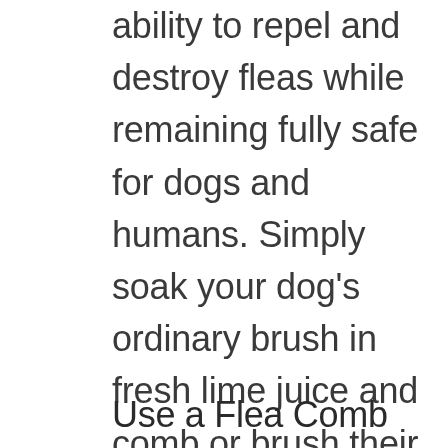ability to repel and destroy fleas while remaining fully safe for dogs and humans. Simply soak your dog's ordinary brush in fresh lime juice and comb or brush their hair as usual. A cloth drenched in lemon juice will do the trick for a short-haired breed.
Use a Flea Comb